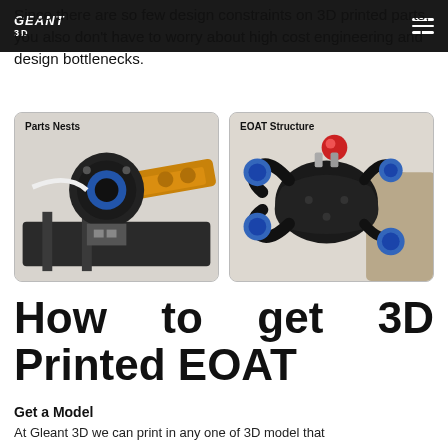GEANT 3D [logo] ☰
Since there are so few design constraints on 3D printed parts, you also don't have to worry about high cost engineering and design bottlenecks.
[Figure (photo): Two side-by-side photos showing 3D printed robotic components. Left image labeled 'Parts Nests' shows a black and orange 3D printed parts nest fixture on a rail. Right image labeled 'EOAT Structure' shows a black 3D printed EOAT (End of Arm Tooling) structure with blue suction cups and a red ball element.]
How to get 3D Printed EOAT
Get a Model
At Gleant 3D we can print in any one of 3D model that